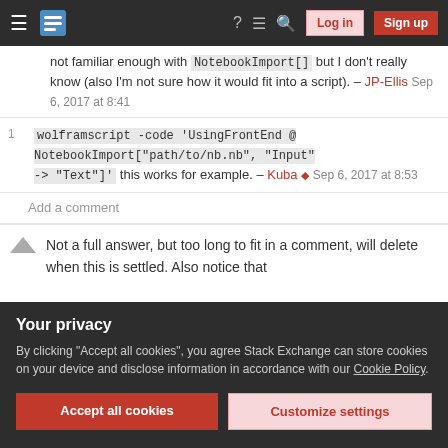Stack Exchange navigation bar with Log in and Sign up buttons
not familiar enough with NotebookImport[] but I don't really know (also I'm not sure how it would fit into a script). – JP-Ellis Sep 6, 2017 at 8:41
1  wolframscript -code 'UsingFrontEnd @ NotebookImport["path/to/nb.nb", "Input" -> "Text"]' this works for example. – Kuba ♦ Sep 6, 2017 at 8:53
Add a comment
Not a full answer, but too long to fit in a comment, will delete when this is settled. Also notice that
Your privacy
By clicking "Accept all cookies", you agree Stack Exchange can store cookies on your device and disclose information in accordance with our Cookie Policy.
Accept all cookies   Customize settings
comment by @Nasser but I'm not sure if this is